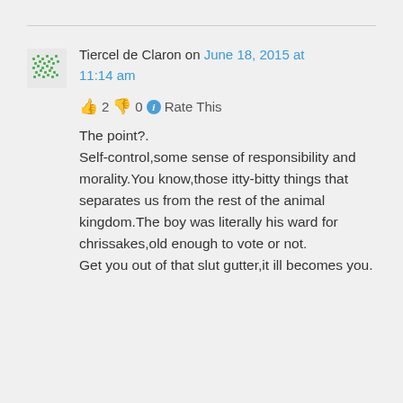Tiercel de Claron on June 18, 2015 at 11:14 am
👍 2 👎 0 ℹ Rate This
The point?.
Self-control,some sense of responsibility and morality.You know,those itty-bitty things that separates us from the rest of the animal kingdom.The boy was literally his ward for chrissakes,old enough to vote or not.
Get you out of that slut gutter,it ill becomes you.